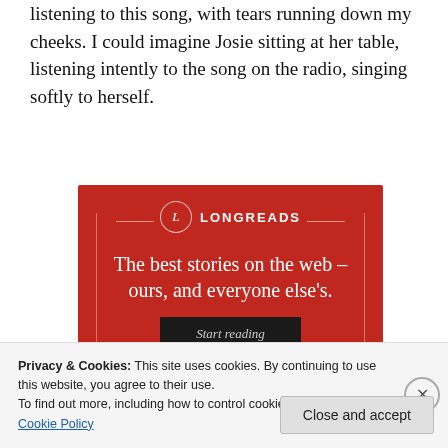listening to this song, with tears running down my cheeks. I could imagine Josie sitting at her table, listening intently to the song on the radio, singing softly to herself.
[Figure (illustration): Longreads advertisement banner with red background. Shows the Longreads logo (circle with L) and text 'The best stories on the web – ours, and everyone else's.' with a 'Start reading' button.]
Privacy & Cookies: This site uses cookies. By continuing to use this website, you agree to their use. To find out more, including how to control cookies, see here: Cookie Policy